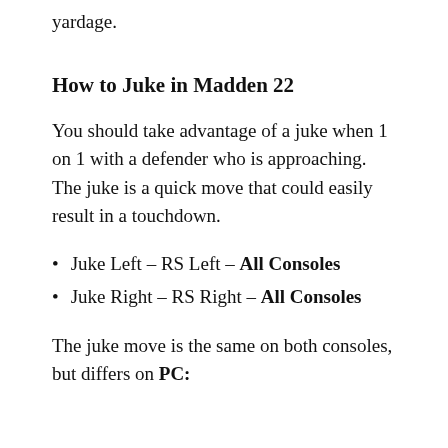Madden 22 that will guarantee you extra yardage.
How to Juke in Madden 22
You should take advantage of a juke when 1 on 1 with a defender who is approaching. The juke is a quick move that could easily result in a touchdown.
Juke Left – RS Left – All Consoles
Juke Right – RS Right – All Consoles
The juke move is the same on both consoles, but differs on PC: